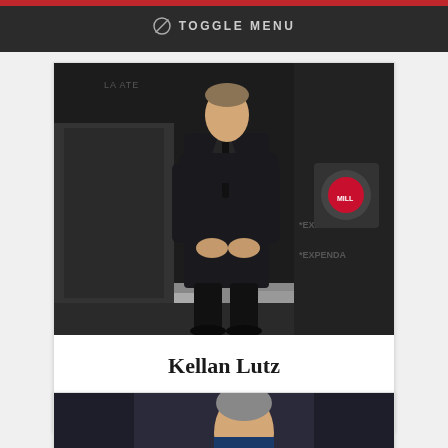TOGGLE MENU
[Figure (photo): Photo of Kellan Lutz in a dark suit standing at what appears to be a movie premiere backdrop with 'Expendables' branding]
Kellan Lutz
Vote for Kellan Lutz
[Figure (photo): Partial photo of another person at bottom of page, partially cropped]